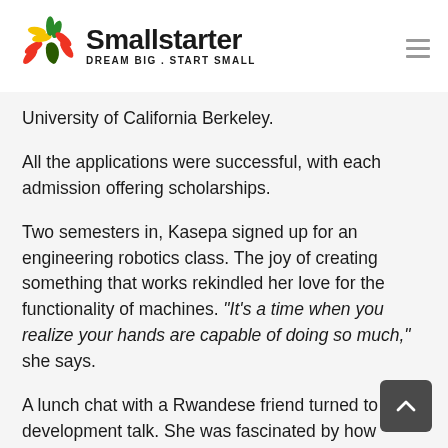Smallstarter — DREAM BIG . START SMALL
University of California Berkeley.
All the applications were successful, with each admission offering scholarships.
Two semesters in, Kasepa signed up for an engineering robotics class. The joy of creating something that works rekindled her love for the functionality of machines. “It’s a time when you realize your hands are capable of doing so much,” she says.
A lunch chat with a Rwandese friend turned to development talk. She was fascinated by how Rwanda, a country with few natural resources, was